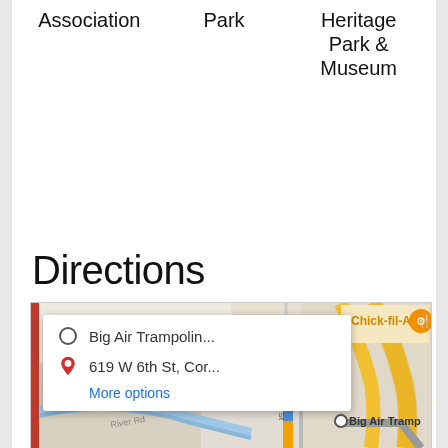Association | Park | Heritage Park & Museum
Directions
[Figure (map): Google Maps screenshot showing directions from Big Air Trampoline to 619 W 6th St, Cor... with a popup card showing origin and destination, More options link, and map with Chick-fil-A, River Rd, N Main St, and Big Air Tramp visible.]